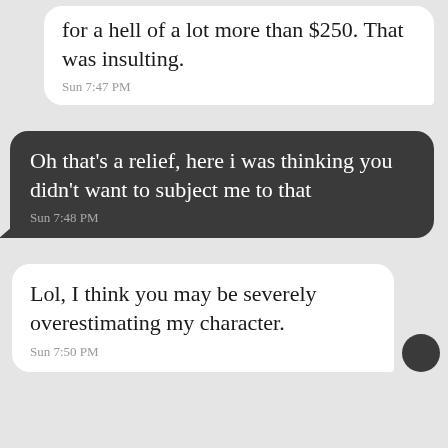for a hell of a lot more than $250. That was insulting.
Sun 7:47 PM
Oh that's a relief, here i was thinking you didn't want to subject me to that
Sun 7:48 PM
Lol, I think you may be severely overestimating my character.
Sun 7:50 PM